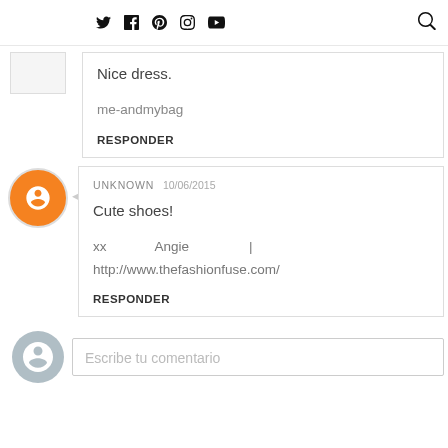Twitter Facebook Pinterest Instagram YouTube [search icon]
Nice dress.

me-andmybag

Responder
UNKNOWN 10/06/2015

Cute shoes!

xx    Angie    |
http://www.thefashionfuse.com/

Responder
Escribe tu comentario